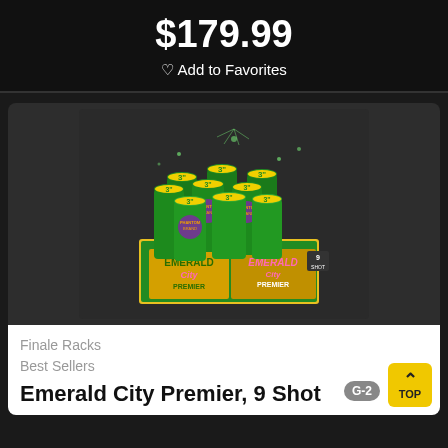$179.99
♡ Add to Favorites
[Figure (photo): Emerald City Premier 9-shot fireworks finale rack product photo showing 9 green tubes with yellow caps in a branded box labeled 'Emerald City Premier' by Phantom Brand]
Finale Racks
Best Sellers
Emerald City Premier, 9 Shot